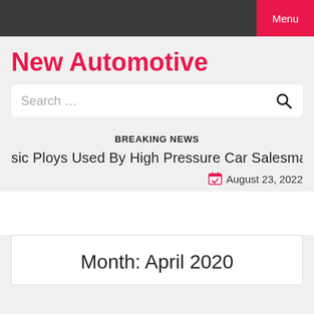Menu
New Automotive
Search …
BREAKING NEWS
sic Ploys Used By High Pressure Car Salesman  |  Moveable
August 23, 2022
Month: April 2020